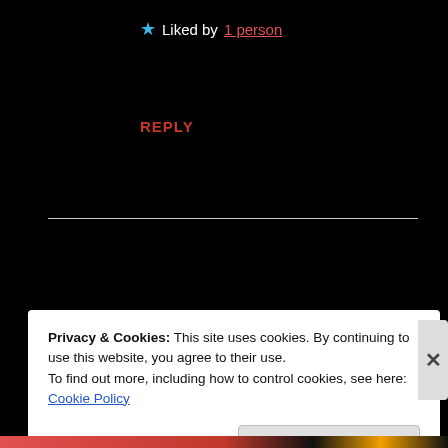★ Liked by 1 person
REPLY
Advertisements
[Figure (illustration): Green progress/advertisement bar]
[Figure (illustration): Circular avatar with teal/mint diamond pattern for user Nathan]
Nathan
Privacy & Cookies: This site uses cookies. By continuing to use this website, you agree to their use.
To find out more, including how to control cookies, see here: Cookie Policy
Close and accept